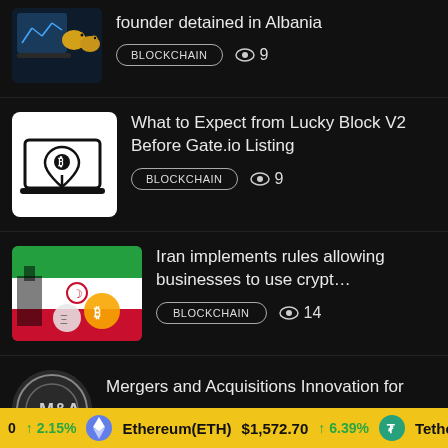[Figure (screenshot): Top partial news item: birds/crypto image thumbnail, title partially visible 'founder detained in Albania', BLOCKCHAIN badge, 9 views]
founder detained in Albania
BLOCKCHAIN  👁 9
[Figure (illustration): Bitcoin map pin icon on laptop, white background]
What to Expect from Lucky Block V2 Before Gate.io Listing
BLOCKCHAIN  👁 9
[Figure (photo): Iran flag and cryptocurrency coins image]
Iran implements rules allowing businesses to use crypt…
BLOCKCHAIN  👁 14
[Figure (logo): Circular logo thumbnail for Mergers article]
Mergers and Acquisitions Innovation for
0  ↑ 2.15%  Ethereum(ETH)  $1,572.70  ↑ 6.39%  Tether(U…